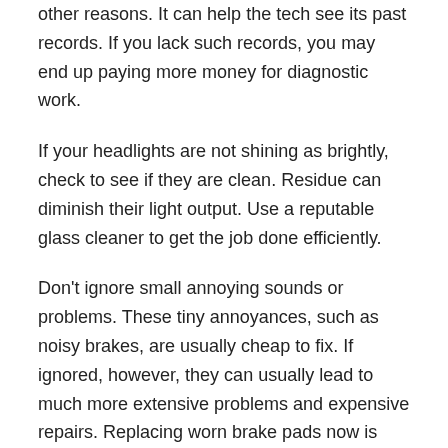other reasons. It can help the tech see its past records. If you lack such records, you may end up paying more money for diagnostic work.
If your headlights are not shining as brightly, check to see if they are clean. Residue can diminish their light output. Use a reputable glass cleaner to get the job done efficiently.
Don't ignore small annoying sounds or problems. These tiny annoyances, such as noisy brakes, are usually cheap to fix. If ignored, however, they can usually lead to much more extensive problems and expensive repairs. Replacing worn brake pads now is much cheaper than having to replace the pads, rotors, brake lines, and calipers later.
Try to find an auto repair shop that is located close to where you live or work. This may not seem like a big deal, but you do not want to have a hard time getting there when it is time for you to go and pick up your vehicle after it is repaired.